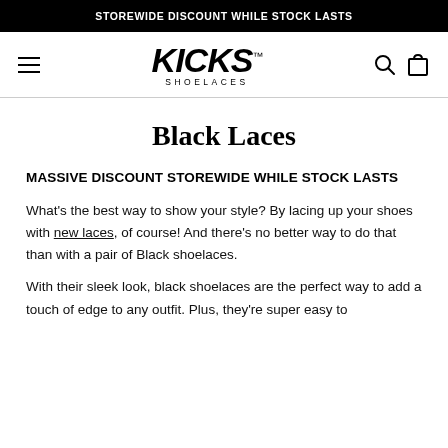STOREWIDE DISCOUNT WHILE STOCK LASTS
[Figure (logo): KICKS SHOELACES logo in bold italic black text with TM mark]
Black Laces
MASSIVE DISCOUNT STOREWIDE WHILE STOCK LASTS
What's the best way to show your style? By lacing up your shoes with new laces, of course! And there's no better way to do that than with a pair of Black shoelaces.
With their sleek look, black shoelaces are the perfect way to add a touch of edge to any outfit. Plus, they're super easy to